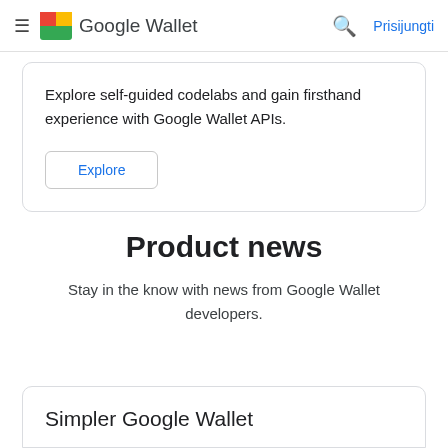Google Wallet — Prisijungti
Explore self-guided codelabs and gain firsthand experience with Google Wallet APIs.
Explore
Product news
Stay in the know with news from Google Wallet developers.
Simpler Google Wallet